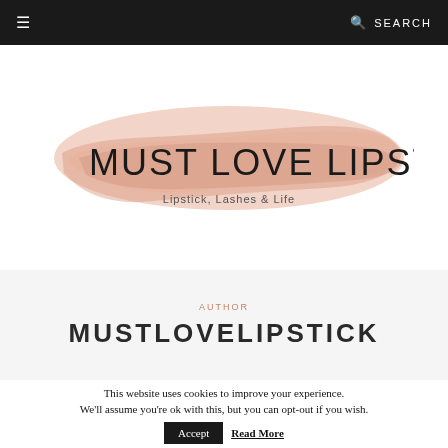≡   SEARCH
[Figure (logo): Must Love Lipstick logo with pink lipstick smear background. Text reads 'MUST LOVE LIPSTICK' with tagline 'Lipstick, Lashes & Life']
AUTHOR
MUSTLOVELIPSTICK
This website uses cookies to improve your experience. We'll assume you're ok with this, but you can opt-out if you wish.  Accept  Read More